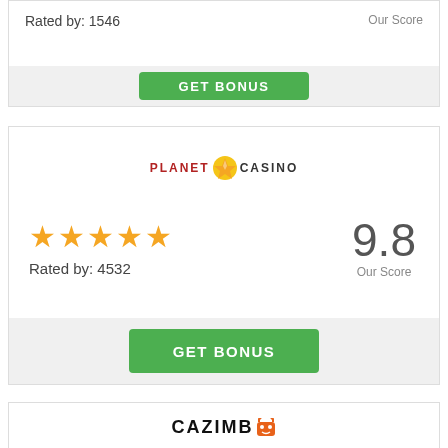Rated by: 1546
Our Score
GET BONUS
[Figure (logo): Planet 7 Casino logo with yellow lightning bolt icon]
[Figure (infographic): Five yellow star rating icons]
Rated by: 4532
9.8
Our Score
GET BONUS
[Figure (logo): Cazimbo logo with orange cat icon]